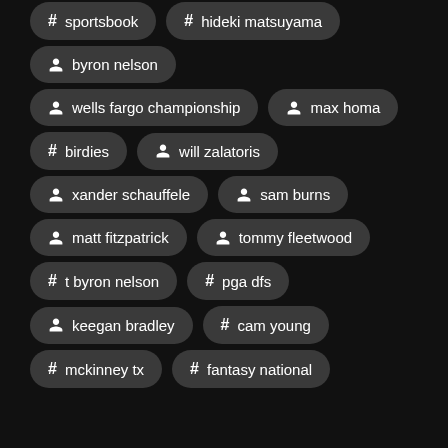# sportsbook
# hideki matsuyama
person byron nelson
person wells fargo championship
person max homa
# birdies
person will zalatoris
person xander schauffele
person sam burns
person matt fitzpatrick
person tommy fleetwood
# t byron nelson
# pga dfs
person keegan bradley
# cam young
# mckinney tx
# fantasy national